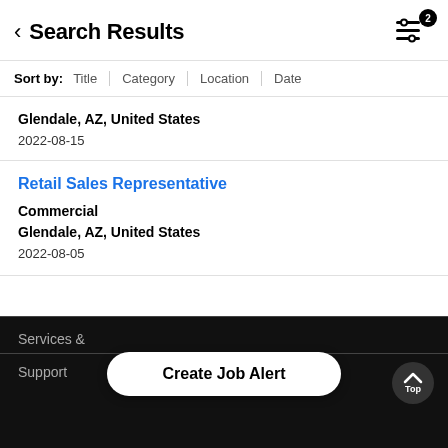Search Results
Sort by: Title | Category | Location | Date
Glendale, AZ, United States
2022-08-15
Retail Sales Representative
Commercial
Glendale, AZ, United States
2022-08-05
Services &
Create Job Alert
Support